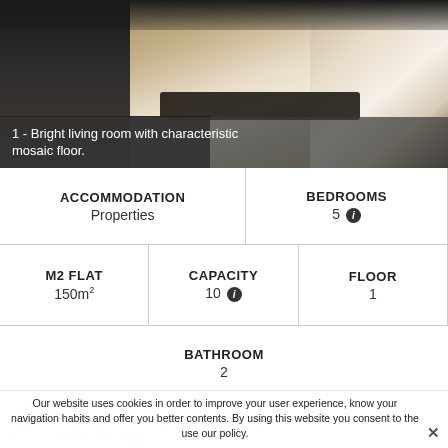[Figure (photo): Interior living room with dark leather sofa, mosaic floor, coffee table with candles, white armchair, brick wall accent, and bright corridor in background.]
1 - Bright living room with characteristic mosaic floor.
| ACCOMMODATION | BEDROOMS |
| Properties | 5 ℹ |
| M2 FLAT | CAPACITY | FLOOR |
| 150m² | 10 ℹ | 1 |
| BATHROOM |  |
| 2 |  |
Our website uses cookies in order to improve your user experience, know your navigation habits and offer you better contents. By using this website you consent to the use our policy.
GENERAL INFORMATION
Address: Carrer de la Creu Coberta - Plaça d'Espanya
License: HUTB-003013